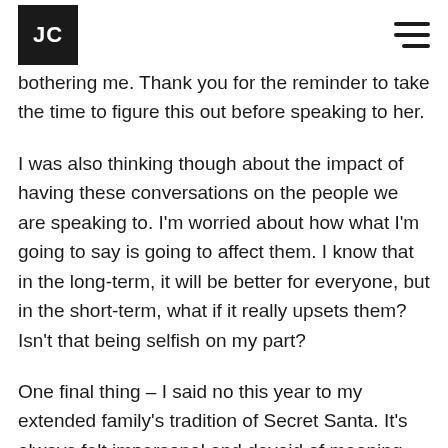JC
bothering me. Thank you for the reminder to take the time to figure this out before speaking to her.
I was also thinking though about the impact of having these conversations on the people we are speaking to. I'm worried about how what I'm going to say is going to affect them. I know that in the long-term, it will be better for everyone, but in the short-term, what if it really upsets them? Isn't that being selfish on my part?
One final thing – I said no this year to my extended family's tradition of Secret Santa. It's always felt impersonal and devoid of meaning, and this year, it was suggested that we spend about $60 on who we get. It's just too much for me and I finally said no. Luckily they